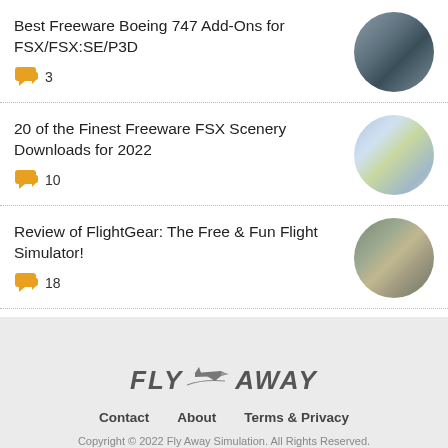Best Freeware Boeing 747 Add-Ons for FSX/FSX:SE/P3D — 3 comments
20 of the Finest Freeware FSX Scenery Downloads for 2022 — 10 comments
Review of FlightGear: The Free & Fun Flight Simulator! — 18 comments
FLY AWAY | Contact  About  Terms & Privacy | Copyright © 2022 Fly Away Simulation. All Rights Reserved.